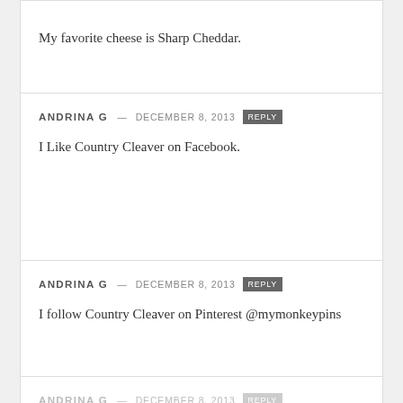My favorite cheese is Sharp Cheddar.
ANDRINA G — DECEMBER 8, 2013 REPLY
I Like Country Cleaver on Facebook.
ANDRINA G — DECEMBER 8, 2013 REPLY
I follow Country Cleaver on Pinterest @mymonkeypins
ANDRINA G — DECEMBER 8, 2013 REPLY
I subscribe via email